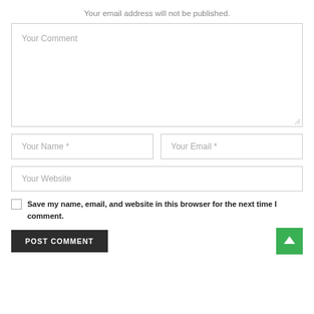Your email address will not be published.
[Figure (screenshot): Web comment form with textarea placeholder 'Your Comment', two side-by-side input fields for 'Your Name *' and 'Your Email *', a full-width input for 'Your Website', a checkbox with label 'Save my name, email, and website in this browser for the next time I comment.', a dark POST COMMENT button, and a green arrow-up button.]